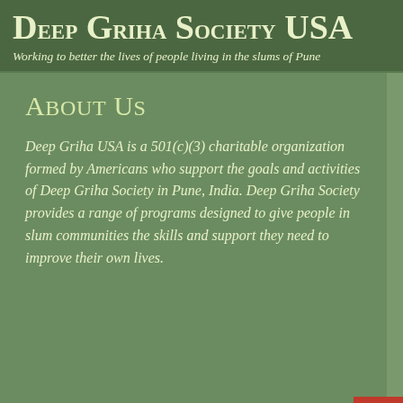Deep Griha Society USA
Working to better the lives of people living in the slums of Pune
About Us
Deep Griha USA is a 501(c)(3) charitable organization formed by Americans who support the goals and activities of Deep Griha Society in Pune, India. Deep Griha Society provides a range of programs designed to give people in slum communities the skills and support they need to improve their own lives.